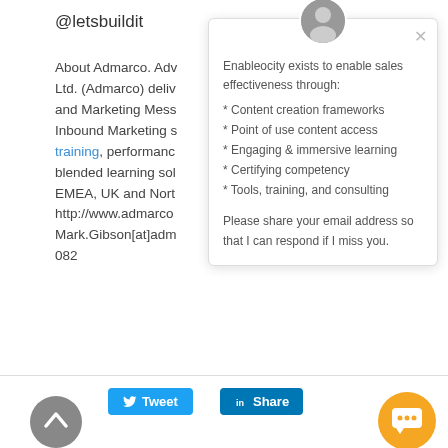@letsbuildit
About Admarco. Adv... Ltd. (Admarco) deliv... and Marketing Mess... Inbound Marketing s... training, performanc... blended learning sol... EMEA, UK and Nort... http://www.admarco... Mark.Gibson[at]adm... 082
[Figure (screenshot): Popup chat widget showing Enableocity profile with avatar, close button, list of services and email request. Also shows Tweet and Share buttons, scroll-to-top button, and chat bubble.]
Enableocity exists to enable sales effectiveness through:
* Content creation frameworks
* Point of use content access
* Engaging & immersive learning
* Certifying competency
* Tools, training, and consulting
Please share your email address so that I can respond if I miss you.
Tweet
Share